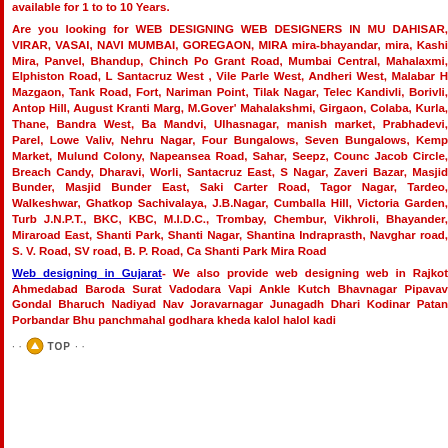available for 1 to to 10 Years.
Are you looking for WEB DESIGNING WEB DESIGNERS IN MU DAHISAR, VIRAR, VASAI, NAVI MUMBAI, GOREGAON, MIRA mira-bhayandar, mira, Kashi Mira, Panvel, Bhandup, Chinch Po Grant Road, Mumbai Central, Mahalaxmi, Elphiston Road, L Santacruz West , Vile Parle West, Andheri West, Malabar H Mazgaon, Tank Road, Fort, Nariman Point, Tilak Nagar, Telec Kandivli, Borivli, Antop Hill, August Kranti Marg, M.Gover' Mahalakshmi, Girgaon, Colaba, Kurla, Thane, Bandra West, Ba Mandvi, Ulhasnagar, manish market, Prabhadevi, Parel, Lowe Valiv, Nehru Nagar, Four Bungalows, Seven Bungalows, Kemp Market, Mulund Colony, Napeansea Road, Sahar, Seepz, Counc Jacob Circle, Breach Candy, Dharavi, Worli, Santacruz East, S Nagar, Zaveri Bazar, Masjid Bunder, Masjid Bunder East, Saki Carter Road, Tagor Nagar, Tardeo, Walkeshwar, Ghatkop Sachivalaya, J.B.Nagar, Cumballa Hill, Victoria Garden, Turb J.N.P.T., BKC, KBC, M.I.D.C., Trombay, Chembur, Vikhroli, Bhayander, Miraroad East, Shanti Park, Shanti Nagar, Shantina Indraprasth, Navghar road, S. V. Road, SV road, B. P. Road, Ca Shanti Park Mira Road
Web designing in Gujarat- We also provide web designing web in Rajkot Ahmedabad Baroda Surat Vadodara Vapi Ankle Kutch Bhavnagar Pipavav Gondal Bharuch Nadiyad Nav Joravarnagar Junagadh Dhari Kodinar Patan Porbandar Bhu panchmahal godhara kheda kalol halol kadi
TOP